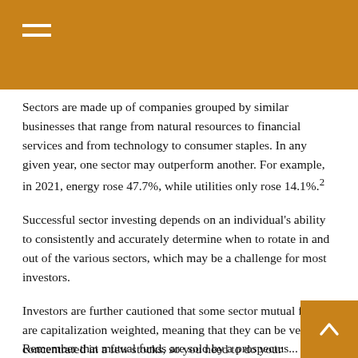Sectors are made up of companies grouped by similar businesses that range from natural resources to financial services and from technology to consumer staples. In any given year, one sector may outperform another. For example, in 2021, energy rose 47.7%, while utilities only rose 14.1%.²
Successful sector investing depends on an individual's ability to consistently and accurately determine when to rotate in and out of the various sectors, which may be a challenge for most investors.
Investors are further cautioned that some sector mutual funds are capitalization weighted, meaning that they can be very concentrated in a few stocks, so you need to do your homework.³
Remember that mutual funds are sold by a prospectus...